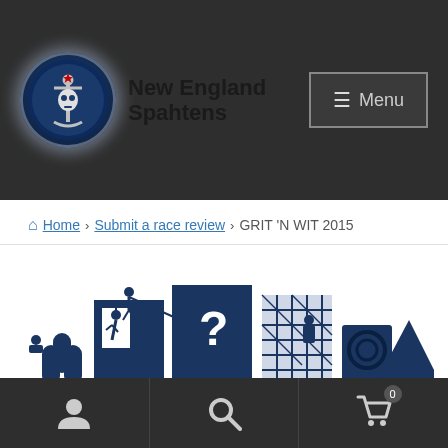[Figure (logo): New England Spahtens logo with circular emblem featuring an anchor/skull motif in blue tones with a white glow effect, next to bold black text reading 'New England Spahtens']
[Figure (screenshot): Menu button with hamburger icon (≡) and text 'Menu' in a rectangular border on dark background]
Home › Submit a race review › GRIT 'N WIT 2015
[Figure (logo): Grit 'N Wit race logo showing silhouetted obstacle course structures with figures climbing, zipline, rope climb, and lattice wall obstacles. Large stylized text reads 'GRIT 'N WIT' at the bottom in distressed white font on dark navy background.]
[Figure (infographic): Bottom navigation bar with three icons: person/user icon, search/magnifying glass icon, and shopping cart icon with badge showing '0']